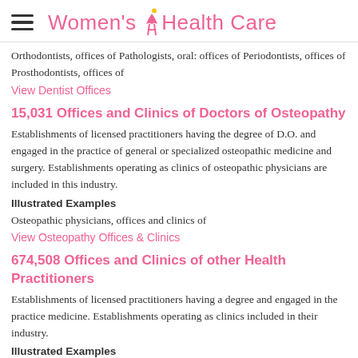Women's Health Care
Orthodontists, offices of Pathologists, oral: offices of Periodontists, offices of Prosthodontists, offices of
View Dentist Offices
15,031 Offices and Clinics of Doctors of Osteopathy
Establishments of licensed practitioners having the degree of D.O. and engaged in the practice of general or specialized osteopathic medicine and surgery. Establishments operating as clinics of osteopathic physicians are included in this industry.
Illustrated Examples
Osteopathic physicians, offices and clinics of
View Osteopathy Offices & Clinics
674,508 Offices and Clinics of other Health Practitioners
Establishments of licensed practitioners having a degree and engaged in the practice medicine. Establishments operating as clinics included in their industry.
Illustrated Examples